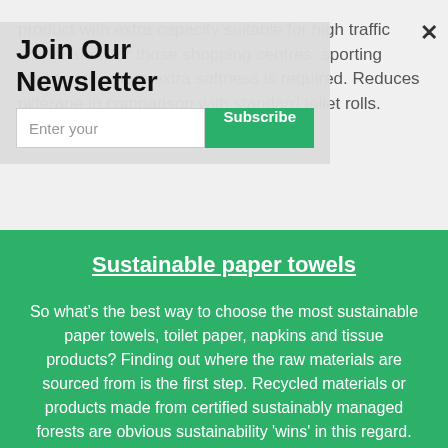product with extra capacity suitable for high traffic areas. Ideal for those shopping centres, sporting arenas etc where extra softness is required. Reduces pilferage in comparison with standard toilet rolls.
Join Our Newsletter
Enter your
Subscribe
Sustainable paper towels
So what's the best way to choose the most sustainable paper towels, toilet paper, napkins and tissue products? Finding out where the raw materials are sourced from is the first step. Recycled materials or products made from certified sustainably managed forests are obvious sustainability 'wins' in this regard. Also, look for any information about the bleaching process used (if any) and opt for the one with the least amount